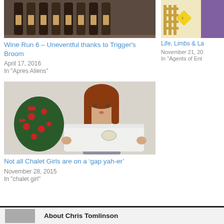[Figure (photo): Wine bottles on a rack]
Wine Run 6 – Uneventful thanks to Trigger's Broom
April 17, 2016
In "Apres Aliens"
[Figure (photo): Partial illustration of a character]
Life, Limbs & La
November 21, 20
In "Agents of Ent
[Figure (photo): Woman holding large white underwear in front of a Christmas tree]
Not all Chalet Girls are on a ‘gap yah-er’
November 28, 2015
In "chalet girl"
About Chris Tomlinson